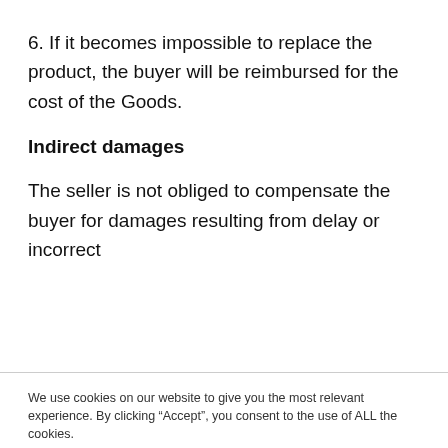6. If it becomes impossible to replace the product, the buyer will be reimbursed for the cost of the Goods.
Indirect damages
The seller is not obliged to compensate the buyer for damages resulting from delay or incorrect
We use cookies on our website to give you the most relevant experience. By clicking “Accept”, you consent to the use of ALL the cookies.
Cookie settings  ACCEPT